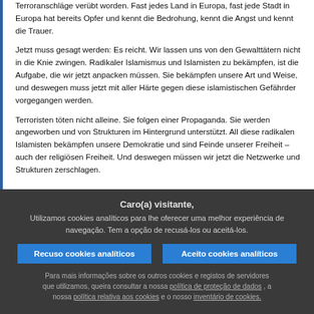Terroranschläge verübt worden. Fast jedes Land in Europa, fast jede Stadt in Europa hat bereits Opfer und kennt die Bedrohung, kennt die Angst und kennt die Trauer.
Jetzt muss gesagt werden: Es reicht. Wir lassen uns von den Gewalttätern nicht in die Knie zwingen. Radikaler Islamismus und Islamisten zu bekämpfen, ist die Aufgabe, die wir jetzt anpacken müssen. Sie bekämpfen unsere Art und Weise, und deswegen muss jetzt mit aller Härte gegen diese islamistischen Gefährder vorgegangen werden.
Terroristen töten nicht alleine. Sie folgen einer Propaganda. Sie werden angeworben und von Strukturen im Hintergrund unterstützt. All diese radikalen Islamisten bekämpfen unsere Demokratie und sind Feinde unserer Freiheit – auch der religiösen Freiheit. Und deswegen müssen wir jetzt die Netzwerke und Strukturen zerschlagen.
Caro(a) visitante, Utilizamos cookies analíticos para lhe oferecer uma melhor experiência de navegação. Tem a opção de recusá-los ou aceitá-los.
Recuso cookies analíticos | Aceito cookies analíticos
Para mais informações sobre os outros cookies e registos de servidores que utilizamos, queira consultar a nossa política de proteção de dados , a nossa política relativa aos cookies e o nosso inventário de cookies.